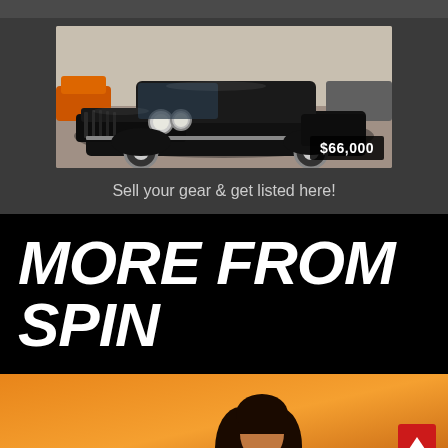[Figure (photo): A classic black vintage car photographed in what appears to be a showroom or garage. The car has prominent round headlights and a tall vertical grille. A price badge showing $66,000 is overlaid in the bottom right corner of the image.]
Sell your gear & get listed here!
MORE FROM SPIN
[Figure (photo): Partial view of a person with long dark hair against an orange/golden background. A red back-to-top button with an upward chevron arrow is visible in the bottom right.]